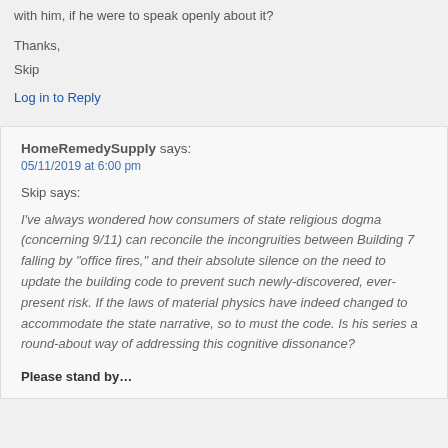with him, if he were to speak openly about it?
Thanks,
Skip
Log in to Reply
HomeRemedySupply says:
05/11/2019 at 6:00 pm
Skip says:
I've always wondered how consumers of state religious dogma (concerning 9/11) can reconcile the incongruities between Building 7 falling by “office fires,” and their absolute silence on the need to update the building code to prevent such newly-discovered, ever-present risk. If the laws of material physics have indeed changed to accommodate the state narrative, so to must the code. Is his series a round-about way of addressing this cognitive dissonance?
Please stand by…